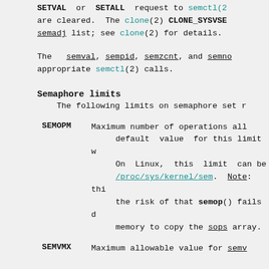SETVAL or SETALL request to semctl(2) are cleared. The clone(2) CLONE_SYSVSEM semadj list; see clone(2) for details.
The semval, sempid, semzcnt, and semno appropriate semctl(2) calls.
Semaphore limits
The following limits on semaphore set r
SEMOPM  Maximum number of operations all default value for this limit w On Linux, this limit can be /proc/sys/kernel/sem. Note: thi the risk of that semop() fails d memory to copy the sops array.
SEMVMX  Maximum allowable value for semv